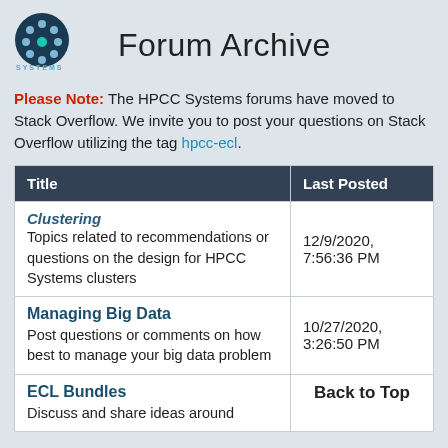[Figure (logo): HPCC Systems logo — dark blue circle with dots and a teal dot, text HPCC SYSTEMS]
Forum Archive
Please Note: The HPCC Systems forums have moved to Stack Overflow. We invite you to post your questions on Stack Overflow utilizing the tag hpcc-ecl.
| Title | Last Posted |
| --- | --- |
| Clustering
Topics related to recommendations or questions on the design for HPCC Systems clusters | 12/9/2020, 7:56:36 PM |
| Managing Big Data
Post questions or comments on how best to manage your big data problem | 10/27/2020, 3:26:50 PM |
| ECL Bundles
Discuss and share ideas around | Back to Top |